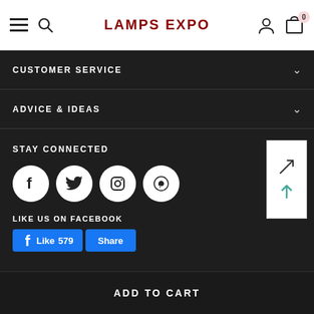LAMPS EXPO
CUSTOMER SERVICE
ADVICE & IDEAS
STAY CONNECTED
[Figure (other): Social media icons: Facebook, Twitter, Instagram, Pinterest]
LIKE US ON FACEBOOK
Like 579  Share
SIGN UP FOR OUR NEWSLETTER
ADD TO CART